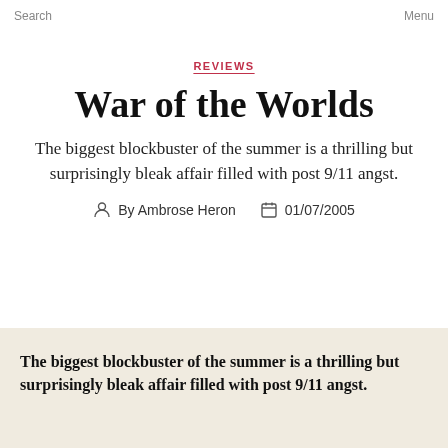Search  Menu
REVIEWS
War of the Worlds
The biggest blockbuster of the summer is a thrilling but surprisingly bleak affair filled with post 9/11 angst.
By Ambrose Heron  01/07/2005
The biggest blockbuster of the summer is a thrilling but surprisingly bleak affair filled with post 9/11 angst.